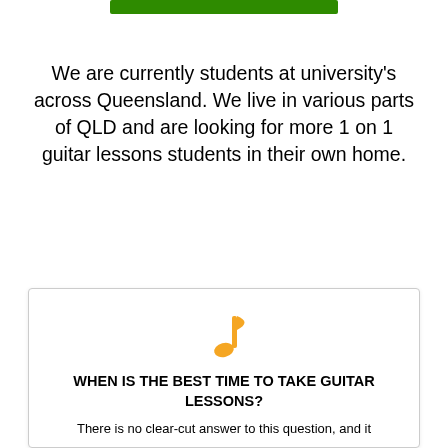[Figure (other): Green rectangular button/bar at top center of page]
We are currently students at university's across Queensland. We live in various parts of QLD and are looking for more 1 on 1 guitar lessons students in their own home.
[Figure (illustration): Orange musical note emoji icon]
WHEN IS THE BEST TIME TO TAKE GUITAR LESSONS?
There is no clear-cut answer to this question, and it